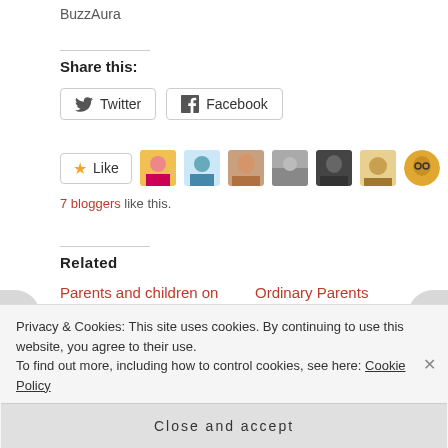BuzzAura
Share this:
[Figure (screenshot): Twitter and Facebook share buttons]
[Figure (screenshot): Like button with 7 blogger avatars]
7 bloggers like this.
Related
Parents and children on the go
April 29, 2015
Ordinary Parents
May 5, 2015
Privacy & Cookies: This site uses cookies. By continuing to use this website, you agree to their use.
To find out more, including how to control cookies, see here: Cookie Policy
Close and accept